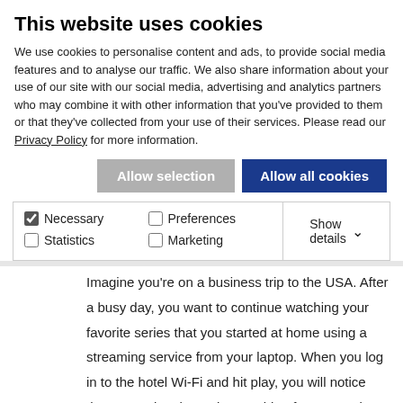This website uses cookies
We use cookies to personalise content and ads, to provide social media features and to analyse our traffic. We also share information about your use of our site with our social media, advertising and analytics partners who may combine it with other information that you've provided to them or that they've collected from your use of their services. Please read our Privacy Policy for more information.
Allow selection | Allow all cookies
Necessary  Preferences  Statistics  Marketing  Show details
Imagine you're on a business trip to the USA. After a busy day, you want to continue watching your favorite series that you started at home using a streaming service from your laptop. When you log in to the hotel Wi-Fi and hit play, you will notice that streaming the series outside of Germany is not permitted (this is actually the case with most streaming services, because the series offered differ depending on the country).
But don't worry, VPN can help you solve this problem. If you have